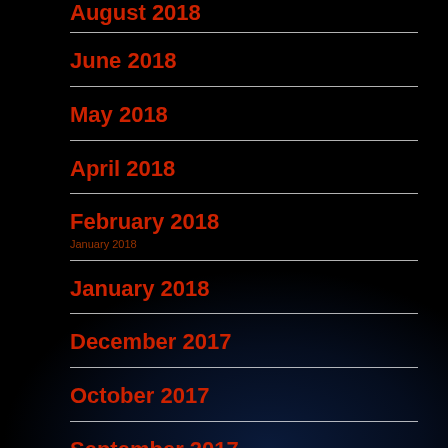August 2018
June 2018
May 2018
April 2018
February 2018
January 2018
December 2017
October 2017
September 2017